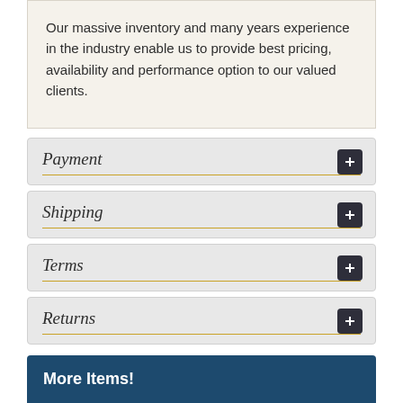Our massive inventory and many years experience in the industry enable us to provide best pricing, availability and performance option to our valued clients.
Payment
Shipping
Terms
Returns
More Items!